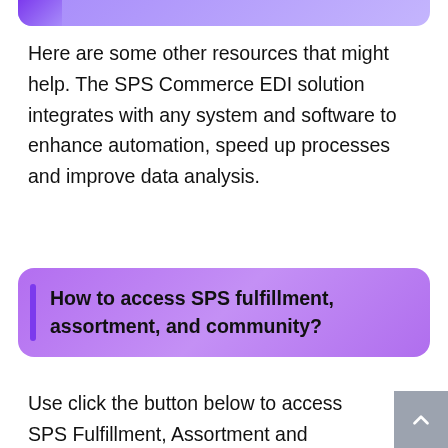Here are some other resources that might help. The SPS Commerce EDI solution integrates with any system and software to enhance automation, speed up processes and improve data analysis.
How to access SPS fulfillment, assortment, and community?
Use click the button below to access SPS Fulfillment, Assortment and Community. Use your SPS login and the button below to access SPS Commerce Analytics